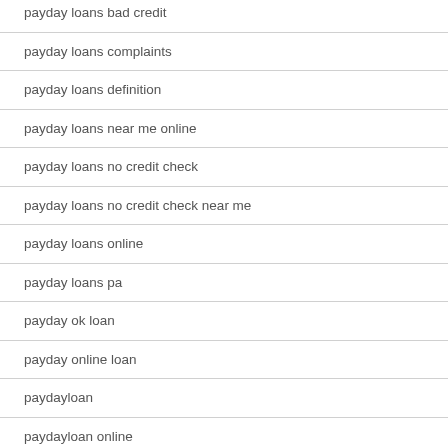payday loans bad credit
payday loans complaints
payday loans definition
payday loans near me online
payday loans no credit check
payday loans no credit check near me
payday loans online
payday loans pa
payday ok loan
payday online loan
paydayloan
paydayloan online
paydayloans